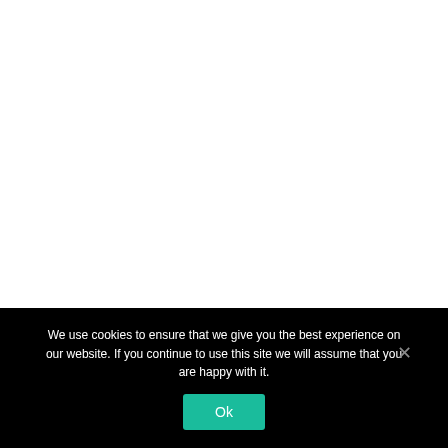Even though both types of investments tend to
We use cookies to ensure that we give you the best experience on our website. If you continue to use this site we will assume that you are happy with it.
Ok